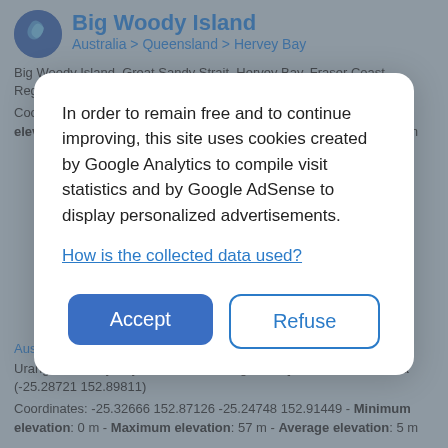Big Woody Island
Australia > Queensland > Hervey Bay
Big Woody Island, Great Sandy Strait, Hervey Bay, Fraser Coast Regional, Queensland, Australia (-25.30440 152.97085)
Coordinates: -25.33592 152.94281 -25.27267 152.99384 - Minimum elevation: 0 m - Maximum elevation: 61 m - Average elevation: 2 m
In order to remain free and to continue improving, this site uses cookies created by Google Analytics to compile visit statistics and by Google AdSense to display personalized advertisements.
How is the collected data used?
Accept
Refuse
Australia > Queensland > Hervey Bay
Urangan, Hervey Bay, Fraser Coast Regional, Queensland, Australia (-25.28721 152.89811)
Coordinates: -25.32666 152.87126 -25.24748 152.91449 - Minimum elevation: 0 m - Maximum elevation: 57 m - Average elevation: 5 m